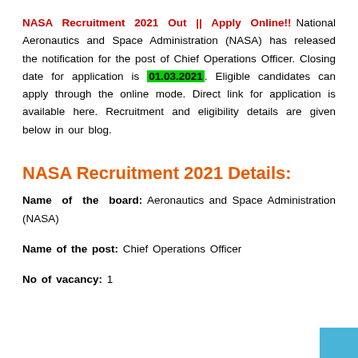NASA Recruitment 2021 Out || Apply Online!! National Aeronautics and Space Administration (NASA) has released the notification for the post of Chief Operations Officer. Closing date for application is 01.03.2021. Eligible candidates can apply through the online mode. Direct link for application is available here. Recruitment and eligibility details are given below in our blog.
NASA Recruitment 2021 Details:
Name of the board: Aeronautics and Space Administration (NASA)
Name of the post: Chief Operations Officer
No of vacancy: 1